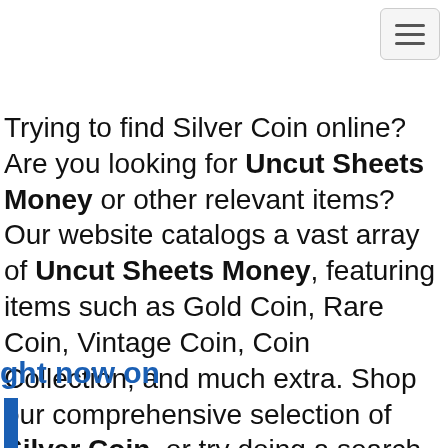[Figure (other): Navigation menu toggle button (hamburger icon) in top-right corner]
Trying to find Silver Coin online? Are you looking for Uncut Sheets Money or other relevant items? Our website catalogs a vast array of Uncut Sheets Money, featuring items such as Gold Coin, Rare Coin, Vintage Coin, Coin Collection, and much extra. Shop our comprehensive selection of Silver Coin, or try doing a search for a more particular Uncut Sheets Money . This site has access to hundreds of thousands of products from online sellers, so our site may have what you are looking for! Purchase Uncut Sheets Money now!
ght now on